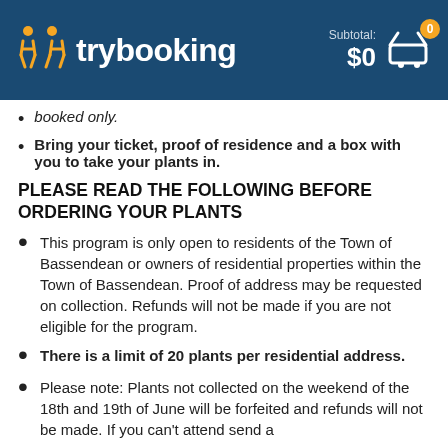trybooking — Subtotal: $0
booked only.
Bring your ticket, proof of residence and a box with you to take your plants in.
PLEASE READ THE FOLLOWING BEFORE ORDERING YOUR PLANTS
This program is only open to residents of the Town of Bassendean or owners of residential properties within the Town of Bassendean. Proof of address may be requested on collection. Refunds will not be made if you are not eligible for the program.
There is a limit of 20 plants per residential address.
Please note: Plants not collected on the weekend of the 18th and 19th of June will be forfeited and refunds will not be made. If you can't attend send a